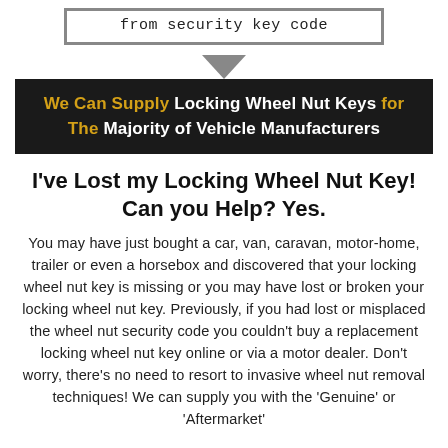from security key code
[Figure (infographic): Downward pointing arrow/chevron graphic connecting box above to banner below]
We Can Supply Locking Wheel Nut Keys for The Majority of Vehicle Manufacturers
I've Lost my Locking Wheel Nut Key! Can you Help? Yes.
You may have just bought a car, van, caravan, motor-home, trailer or even a horsebox and discovered that your locking wheel nut key is missing or you may have lost or broken your locking wheel nut key. Previously, if you had lost or misplaced the wheel nut security code you couldn't buy a replacement locking wheel nut key online or via a motor dealer. Don't worry, there's no need to resort to invasive wheel nut removal techniques! We can supply you with the 'Genuine' or 'Aftermarket'